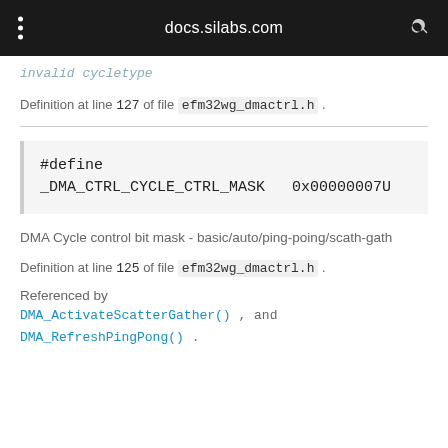docs.silabs.com
invalid cycletype
Definition at line 127 of file efm32wg_dmactrl.h .
#define _DMA_CTRL_CYCLE_CTRL_MASK   0x00000007U
DMA Cycle control bit mask - basic/auto/ping-poing/scath-gath
Definition at line 125 of file efm32wg_dmactrl.h .
Referenced by DMA_ActivateScatterGather(), and DMA_RefreshPingPong().